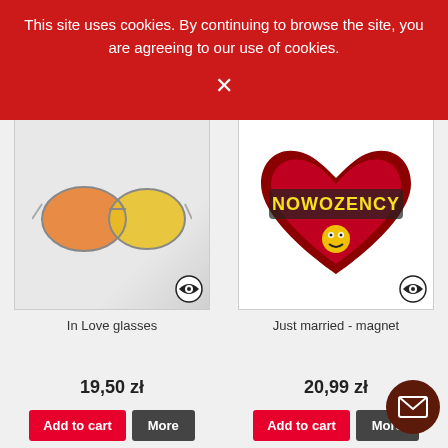This site uses cookies. By continuing to browse the site, you are agreeing to our use of cookies.
[Figure (photo): Product photo: In Love glasses - orange/red tinted aviator sunglasses on white/grey background with eye icon]
In Love glasses
[Figure (photo): Product photo: Just married - magnet, heart shaped magnet with NOWOZENCY text and emoji on white background with eye icon]
Just married - magnet
19,50 zł
20,99 zł
Add to cart
More
Add to cart
More
[Figure (photo): Bottom left: white pillow with red lips print]
[Figure (photo): Bottom right: Randka SMS product image with pink text on dark background]